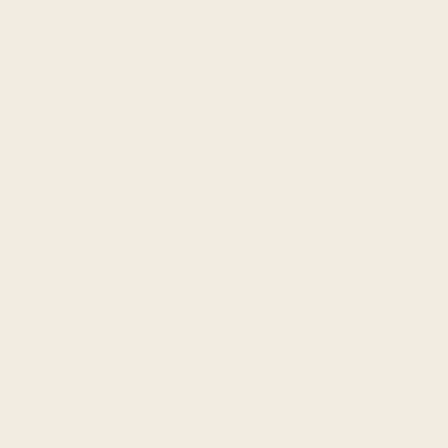customs. [CHIPPAWAYAN Fort, in N. America, from when